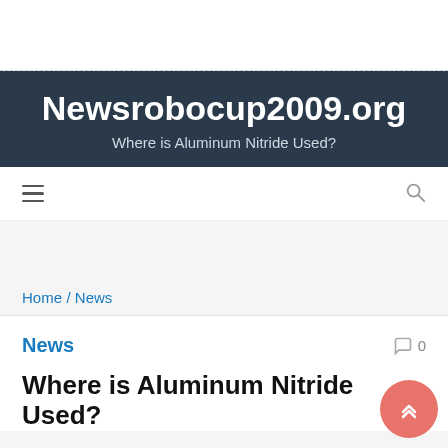Newsrobocup2009.org
Where is Aluminum Nitride Used?
≡  🔍
Home / News
News
💬 0
Where is Aluminum Nitride Used?